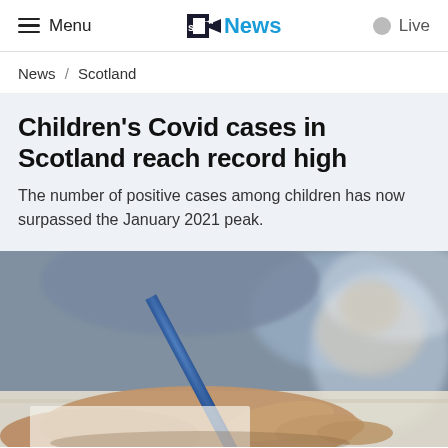Menu | STV News | Live
News / Scotland
Children's Covid cases in Scotland reach record high
The number of positive cases among children has now surpassed the January 2021 peak.
[Figure (photo): Close-up photo of a student's hand writing with a blue pencil, with other students blurred in the background, suggesting a classroom setting.]